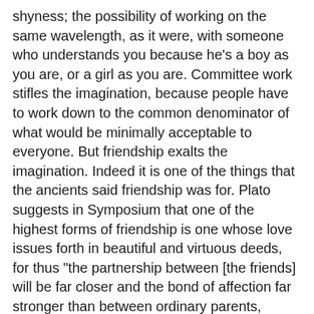shyness; the possibility of working on the same wavelength, as it were, with someone who understands you because he's a boy as you are, or a girl as you are. Committee work stifles the imagination, because people have to work down to the common denominator of what would be minimally acceptable to everyone. But friendship exalts the imagination. Indeed it is one of the things that the ancients said friendship was for. Plato suggests in Symposium that one of the highest forms of friendship is one whose love issues forth in beautiful and virtuous deeds, for thus "the partnership between [the friends] will be far closer and the bond of affection far stronger than between ordinary parents, because the children that they share surpass human children by being immortal as well as more beautiful."
Author: Anthony Esolen